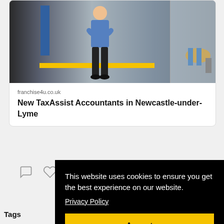[Figure (photo): A man standing with arms crossed in front of a TaxAssist Accountants shop front with yellow branding stripe]
franchise4u.co.uk
New TaxAssist Accountants in Newcastle-under-Lyme
[Figure (other): Comment and like/heart icons for social interaction]
Tags
Acco
Auto
Blue
Care Franchise UK
Caremarks
Children Franchise UK
This website uses cookies to ensure you get the best experience on our website.
Privacy Policy
Accept